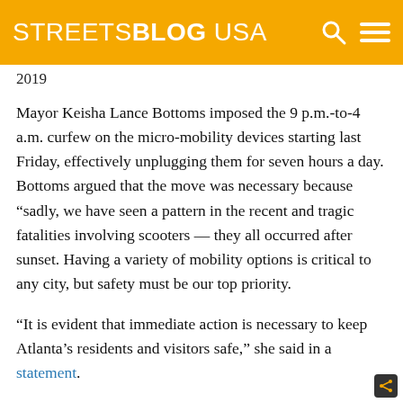STREETSBLOG USA
2019
Mayor Keisha Lance Bottoms imposed the 9 p.m.-to-4 a.m. curfew on the micro-mobility devices starting last Friday, effectively unplugging them for seven hours a day. Bottoms argued that the move was necessary because “sadly, we have seen a pattern in the recent and tragic fatalities involving scooters — they all occurred after sunset. Having a variety of mobility options is critical to any city, but safety must be our top priority.
“It is evident that immediate action is necessary to keep Atlanta’s residents and visitors safe,” she said in a statement.